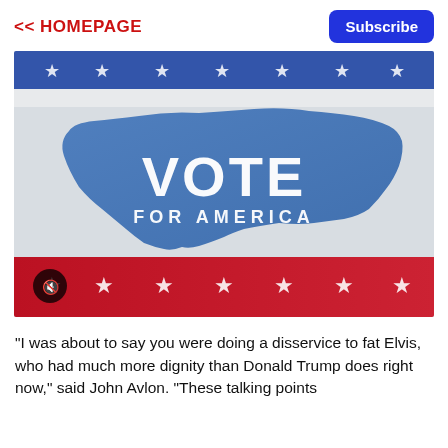<< HOMEPAGE
[Figure (photo): American flag waving with a blue map silhouette of the United States in the center. Large white text reads 'VOTE FOR AMERICA'. Red and white stripes and stars visible. A mute/speaker icon button in the lower left corner.]
"I was about to say you were doing a disservice to fat Elvis, who had much more dignity than Donald Trump does right now," said John Avlon. "These talking points are really disconcerting from a polling..."